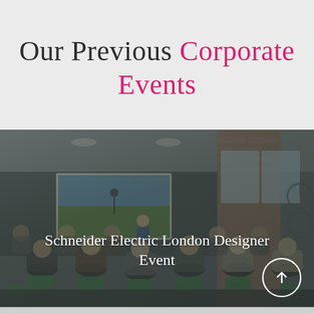Our Previous Corporate Events
[Figure (photo): A darkened photograph of a corporate event or seminar in a modern room. An audience of people seated in green chairs watch a presenter standing in front of a projection screen showing a nature/sports image. Brick walls and large windows visible on the right. A bicycle hangs on the far right wall. The image has a dark overlay.]
Schneider Electric London Designer Event